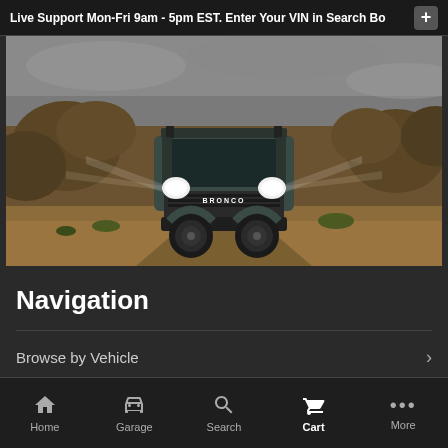Live Support Mon-Fri 9am - 5pm EST. Enter Your VIN in Search Bo
[Figure (photo): Ford Bronco SUV driving off-road through rocky desert terrain with bright headlights on, overcast sky in background]
Navigation
Browse by Vehicle
Site
Home  Garage  Search  Cart  More